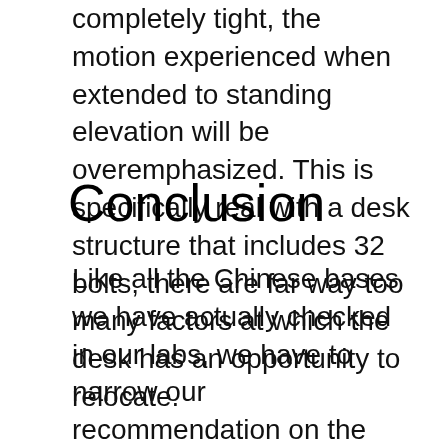completely tight, the motion experienced when extended to standing elevation will be overemphasized. This is specifically real with a desk structure that includes 32 bolts, there are far way too many factors at which the desk has an opportunity to relocate.
Conclusion
Like all the Chinese bases we have actually checked in our labs, we have to narrow our recommendation on the StandDesk Pro to much shorter users with narrower desktops, as the stability just isn't there for a large mass boosted high off the ground. American-made workdesks will certainly be better suited to these applications, as well as for a fairly apparent reason. Virtually all American-